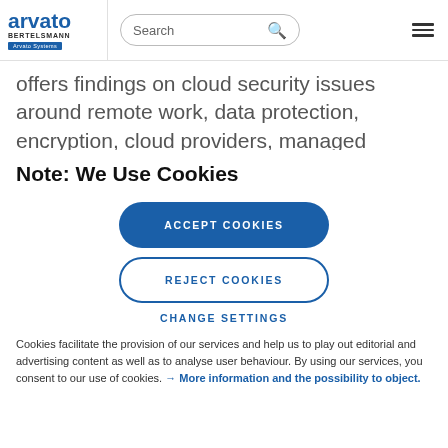arvato BERTELSMANN Arvato Systems | Search | [menu]
offers findings on cloud security issues around remote work, data protection, encryption, cloud providers, managed services and budgets. It can be
Note: We Use Cookies
ACCEPT COOKIES
REJECT COOKIES
CHANGE SETTINGS
Cookies facilitate the provision of our services and help us to play out editorial and advertising content as well as to analyse user behaviour. By using our services, you consent to our use of cookies. → More information and the possibility to object.